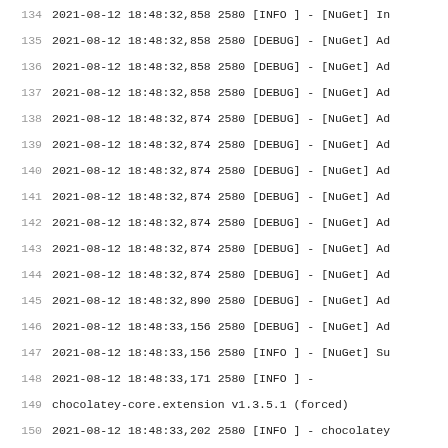134  2021-08-12 18:48:32,858 2580 [INFO ] - [NuGet] In
135  2021-08-12 18:48:32,858 2580 [DEBUG] - [NuGet] Ad
136  2021-08-12 18:48:32,858 2580 [DEBUG] - [NuGet] Ad
137  2021-08-12 18:48:32,858 2580 [DEBUG] - [NuGet] Ad
138  2021-08-12 18:48:32,874 2580 [DEBUG] - [NuGet] Ad
139  2021-08-12 18:48:32,874 2580 [DEBUG] - [NuGet] Ad
140  2021-08-12 18:48:32,874 2580 [DEBUG] - [NuGet] Ad
141  2021-08-12 18:48:32,874 2580 [DEBUG] - [NuGet] Ad
142  2021-08-12 18:48:32,874 2580 [DEBUG] - [NuGet] Ad
143  2021-08-12 18:48:32,874 2580 [DEBUG] - [NuGet] Ad
144  2021-08-12 18:48:32,874 2580 [DEBUG] - [NuGet] Ad
145  2021-08-12 18:48:32,890 2580 [DEBUG] - [NuGet] Ad
146  2021-08-12 18:48:33,156 2580 [DEBUG] - [NuGet] Ad
147  2021-08-12 18:48:33,156 2580 [INFO ] - [NuGet] Su
148  2021-08-12 18:48:33,171 2580 [INFO ] -
149  chocolatey-core.extension v1.3.5.1 (forced)
150  2021-08-12 18:48:33,202 2580 [INFO ] - chocolatey
151  2021-08-12 18:48:33,297 2580 [DEBUG] - Capturing
152  2021-08-12 18:48:33,297 2580 [DEBUG] -  Found 'C:
153   with checksum '7F066B11D65D07704BDB0A9D8FB4437F
154  2021-08-12 18:48:33,297 2580 [DEBUG] -  Found 'C:
155   with checksum 'D71F7B1D873058AA1A6CE4EA7CD21AE8